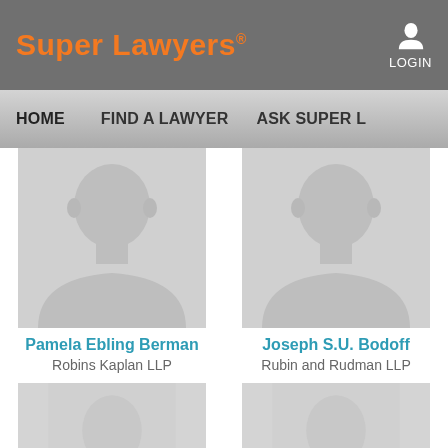Super Lawyers® LOGIN
HOME   FIND A LAWYER   ASK SUPER L...
[Figure (photo): Default profile placeholder silhouette for Pamela Ebling Berman]
Pamela Ebling Berman
Robins Kaplan LLP
[Figure (photo): Default profile placeholder silhouette for Joseph S.U. Bodoff]
Joseph S.U. Bodoff
Rubin and Rudman LLP
[Figure (photo): Default profile placeholder silhouette (bottom left, partially visible)]
[Figure (photo): Default profile placeholder silhouette (bottom right, partially visible)]